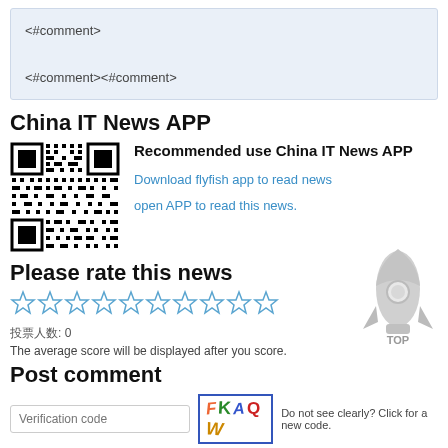<#comment>
<#comment><#comment>
China IT News APP
[Figure (other): QR code for China IT News APP]
Recommended use China IT News APP
Download flyfish app to read news
open APP to read this news.
Please rate this news
[Figure (other): Ten empty star rating icons in a row]
投票人数: 0
The average score will be displayed after you score.
[Figure (illustration): Light gray rocket icon with TOP label]
Post comment
Verification code
[Figure (other): CAPTCHA image showing FKAQW in colorful letters]
Do not see clearly? Click for a new code.
Input comments